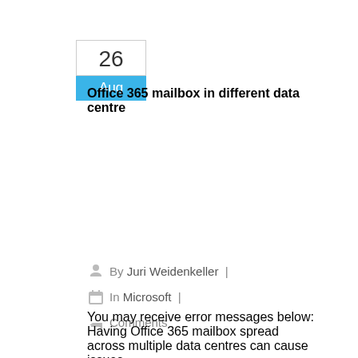[Figure (other): Calendar widget showing date 26 Aug with day number in white box and month in blue box]
Office 365 mailbox in different data centre
By Juri Weidenkeller | In Microsoft | Comments
You may receive error messages below: Having Office 365 mailbox spread across multiple data centres can cause issues.